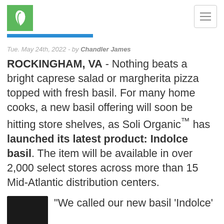Soli Organic logo and navigation
Tue. May 24th, 2022 - by Chandler James
ROCKINGHAM, VA - Nothing beats a bright caprese salad or margherita pizza topped with fresh basil. For many home cooks, a new basil offering will soon be hitting store shelves, as Soli Organic™ has launched its latest product: Indolce basil. The item will be available in over 2,000 select stores across more than 15 Mid-Atlantic distribution centers.
"We called our new basil 'Indolce'